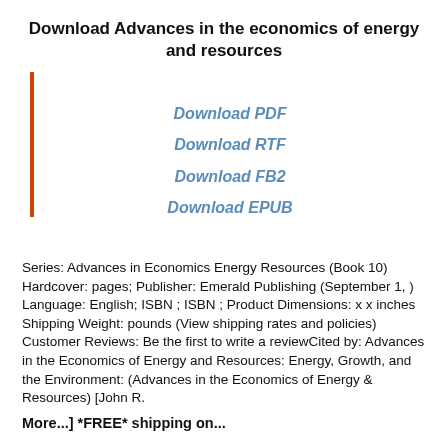Download Advances in the economics of energy and resources
Download PDF
Download RTF
Download FB2
Download EPUB
Series: Advances in Economics Energy Resources (Book 10) Hardcover: pages; Publisher: Emerald Publishing (September 1, ) Language: English; ISBN ; ISBN ; Product Dimensions: x x inches Shipping Weight: pounds (View shipping rates and policies) Customer Reviews: Be the first to write a reviewCited by: Advances in the Economics of Energy and Resources: Energy, Growth, and the Environment: (Advances in the Economics of Energy & Resources) [John R.
More...] *FREE* shipping on...